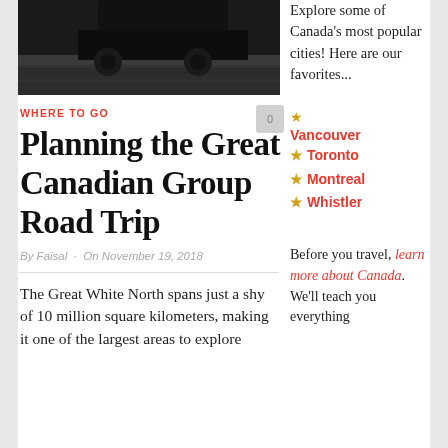[Figure (photo): Dark road photograph, close-up of asphalt with vehicle visible at top]
WHERE TO GO
Planning the Great Canadian Group Road Trip
By Faisal · On November 19, 2018
Explore some of Canada's most popular cities! Here are our favorites...
★ Vancouver
★ Toronto
★ Montreal
★ Whistler
The Great White North spans just a shy of 10 million square kilometers, making it one of the largest areas to explore
Before you travel, learn more about Canada. We'll teach you everything